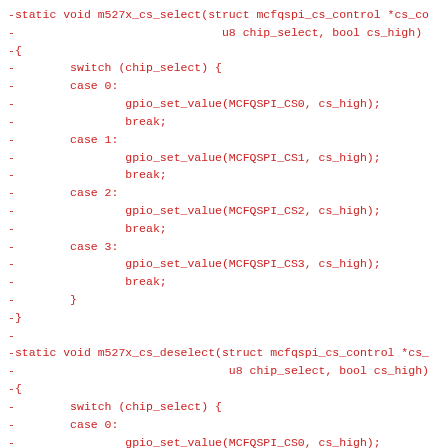-static void m527x_cs_select(struct mcfqspi_cs_control *cs_co
-                              u8 chip_select, bool cs_high)
-{
-        switch (chip_select) {
-        case 0:
-                gpio_set_value(MCFQSPI_CS0, cs_high);
-                break;
-        case 1:
-                gpio_set_value(MCFQSPI_CS1, cs_high);
-                break;
-        case 2:
-                gpio_set_value(MCFQSPI_CS2, cs_high);
-                break;
-        case 3:
-                gpio_set_value(MCFQSPI_CS3, cs_high);
-                break;
-        }
-}
-
-static void m527x_cs_deselect(struct mcfqspi_cs_control *cs_
-                               u8 chip_select, bool cs_high)
-{
-        switch (chip_select) {
-        case 0:
-                gpio_set_value(MCFQSPI_CS0, cs_high);